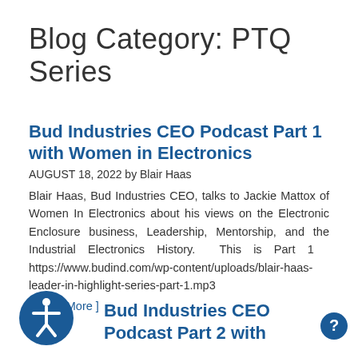Blog Category: PTQ Series
Bud Industries CEO Podcast Part 1 with Women in Electronics
AUGUST 18, 2022 by Blair Haas
Blair Haas, Bud Industries CEO, talks to Jackie Mattox of Women In Electronics about his views on the Electronic Enclosure business, Leadership, Mentorship, and the Industrial Electronics History.  This is Part 1   https://www.budind.com/wp-content/uploads/blair-haas-leader-in-highlight-series-part-1.mp3
[ Read More ]
Bud Industries CEO Podcast Part 2 with